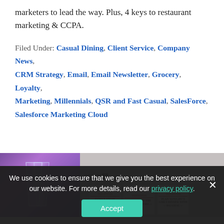marketers to lead the way. Plus, 4 keys to restaurant marketing & CCPA.
Filed Under: Casual Dining, Client Service, Company News, CRM Strategy, Email, Email Newsletter, Grocery, Loyalty, Marketing, Millennials, QSR and Fast Casual, SalesForce, Salesforce Marketing Cloud
[Figure (photo): Left: Purple-tinted glass trophies or award sculptures on purple background. Right: responsys logo with three email marketing card designs for Tostitos brand campaigns: 'Family Steak Night Done Right', 'Tonight, Be the Dinner Hero', and 'Plan Tonight's Girls Dinner with Pajamas'.]
We use cookies to ensure that we give you the best experience on our website. For more details, read our privacy policy.